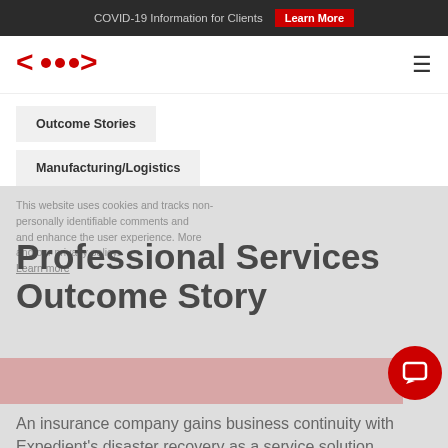COVID-19 Information for Clients  Learn More
[Figure (logo): Expedient logo with red arrow brackets and dots]
Outcome Stories
Manufacturing/Logistics
This website uses cookies and tracks non-personally identifiable comments and enhance the user experience. More and our privacy policy. Learn more
Professional Services Outcome Story
An insurance company gains business continuity with Expedient's disaster recovery as a service solution.